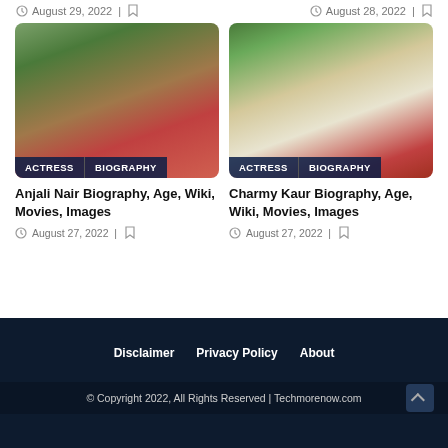August 29, 2022 | [bookmark] August 28, 2022 | [bookmark]
[Figure (photo): Photo of Anjali Nair, a young Indian actress with long dark hair, wearing a red outfit, standing near trees]
[Figure (photo): Photo of Charmy Kaur, an Indian actress wearing sunglasses and a white shirt, sitting outdoors near palm trees]
Anjali Nair Biography, Age, Wiki, Movies, Images
August 27, 2022
Charmy Kaur Biography, Age, Wiki, Movies, Images
August 27, 2022
Disclaimer  Privacy Policy  About
© Copyright 2022, All Rights Reserved | Techmorenow.com